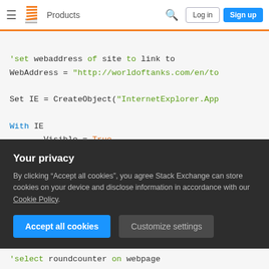Stack Overflow navigation bar with Products, Log in, Sign up
'set webaddress of site to link to
WebAddress = "http://worldoftanks.com/en/to

Set IE = CreateObject("InternetExplorer.App

With IE
    .Visible = True
    .navigate (WebAddress)
End With

'What does this chunk of code do?  Wait for
While IE.readyState <> 4
    DoEvents
Wend
Your privacy
By clicking "Accept all cookies", you agree Stack Exchange can store cookies on your device and disclose information in accordance with our Cookie Policy.
'select roundcounter on webpage